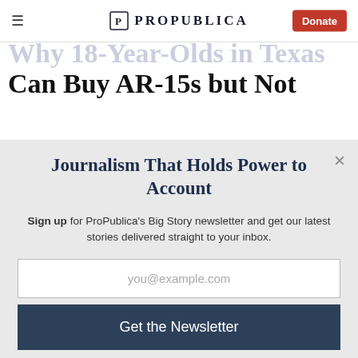ProPublica — Donate
Why 18-Year-Olds in Texas Can Buy AR-15s but Not
Journalism That Holds Power to Account
Sign up for ProPublica's Big Story newsletter and get our latest stories delivered straight to your inbox.
you@example.com
Get the Newsletter
No thanks, I'm all set
This site is protected by reCAPTCHA and the Google Privacy Policy and Terms of Service apply.